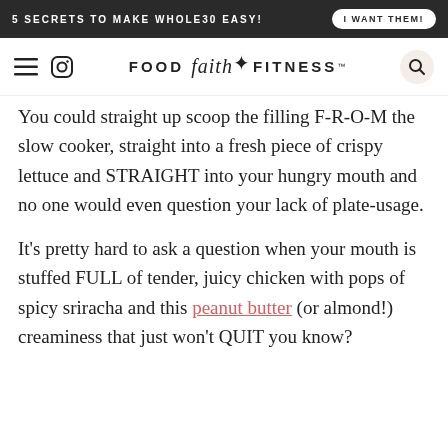5 SECRETS TO MAKE WHOLE30 EASY! | I WANT THEM!
FOOD faith FITNESS™
You could straight up scoop the filling F-R-O-M the slow cooker, straight into a fresh piece of crispy lettuce and STRAIGHT into your hungry mouth and no one would even question your lack of plate-usage.
It's pretty hard to ask a question when your mouth is stuffed FULL of tender, juicy chicken with pops of spicy sriracha and this peanut butter (or almond!) creaminess that just won't QUIT you know?